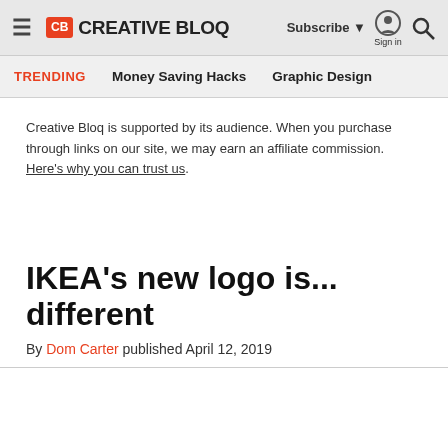CB CREATIVE BLOQ | Subscribe | Sign in | Search
TRENDING | Money Saving Hacks | Graphic Design
Creative Bloq is supported by its audience. When you purchase through links on our site, we may earn an affiliate commission. Here's why you can trust us.
IKEA's new logo is... different
By Dom Carter published April 12, 2019